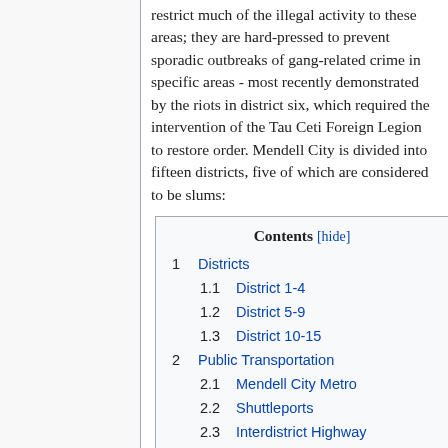restrict much of the illegal activity to these areas; they are hard-pressed to prevent sporadic outbreaks of gang-related crime in specific areas - most recently demonstrated by the riots in district six, which required the intervention of the Tau Ceti Foreign Legion to restore order. Mendell City is divided into fifteen districts, five of which are considered to be slums:
| Contents [hide] |
| 1 | Districts |
| 1.1 | District 1-4 |
| 1.2 | District 5-9 |
| 1.3 | District 10-15 |
| 2 | Public Transportation |
| 2.1 | Mendell City Metro |
| 2.2 | Shuttleports |
| 2.3 | Interdistrict Highway |